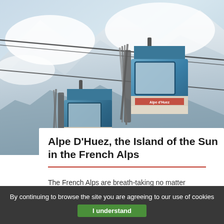[Figure (photo): Cable car gondolas carrying skis ascending over snowy French Alpine mountain scenery. Multiple blue gondola cars visible with ski racks attached, set against white snow-covered mountain peaks and pale blue sky.]
Alpe D'Huez, the Island of the Sun in the French Alps
The French Alps are breath-taking no matter
By continuing to browse the site you are agreeing to our use of cookies
I understand